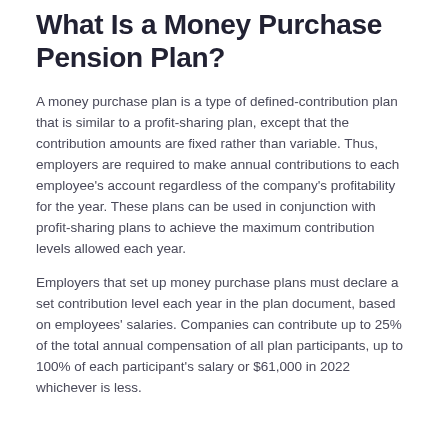What Is a Money Purchase Pension Plan?
A money purchase plan is a type of defined-contribution plan that is similar to a profit-sharing plan, except that the contribution amounts are fixed rather than variable. Thus, employers are required to make annual contributions to each employee's account regardless of the company's profitability for the year. These plans can be used in conjunction with profit-sharing plans to achieve the maximum contribution levels allowed each year.
Employers that set up money purchase plans must declare a set contribution level each year in the plan document, based on employees' salaries. Companies can contribute up to 25% of the total annual compensation of all plan participants, up to 100% of each participant's salary or $61,000 in 2022 whichever is less.